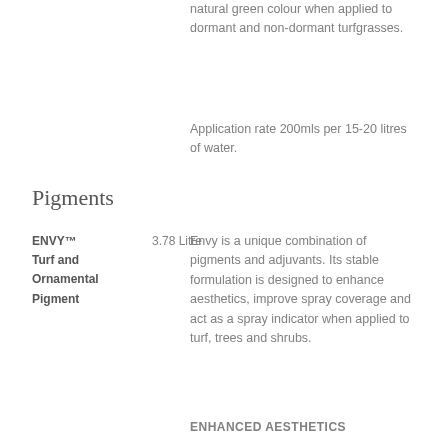natural green colour when applied to dormant and non-dormant turfgrasses.
Application rate 200mls per 15-20 litres of water.
Pigments
ENVY™ Turf and Ornamental Pigment
3.78 Litre
Envy is a unique combination of pigments and adjuvants. Its stable formulation is designed to enhance aesthetics, improve spray coverage and act as a spray indicator when applied to turf, trees and shrubs.
ENHANCED AESTHETICS